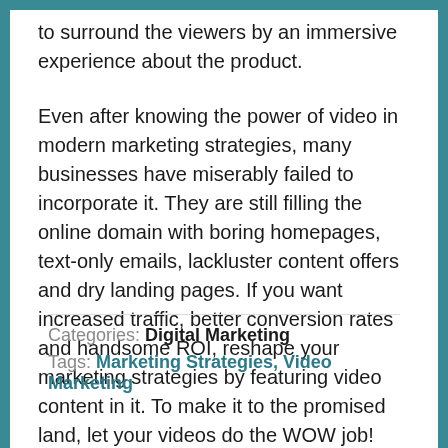to surround the viewers by an immersive experience about the product.
Even after knowing the power of video in modern marketing strategies, many businesses have miserably failed to incorporate it. They are still filling the online domain with boring homepages, text-only emails, lackluster content offers and dry landing pages. If you want increased traffic, better conversion rates and handsome ROI, reshape your marketing strategies by featuring video content in it. To make it to the promised land, let your videos do the WOW job!
Categories: Digital Marketing
Tags: Marketing Strategies, Video Marketing